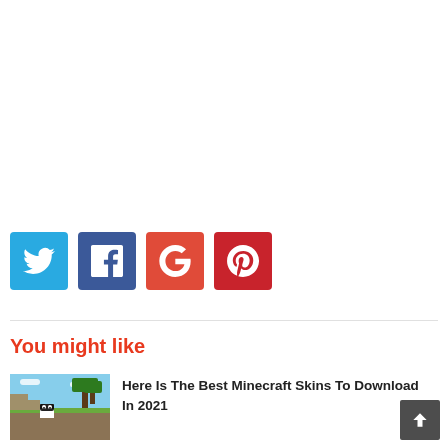[Figure (infographic): Social share buttons: Twitter (blue), Facebook (dark blue), Google+ (red-orange), Pinterest (dark red)]
You might like
[Figure (photo): Minecraft screenshot showing a panda character in a blocky outdoor scene]
Here Is The Best Minecraft Skins To Download In 2021